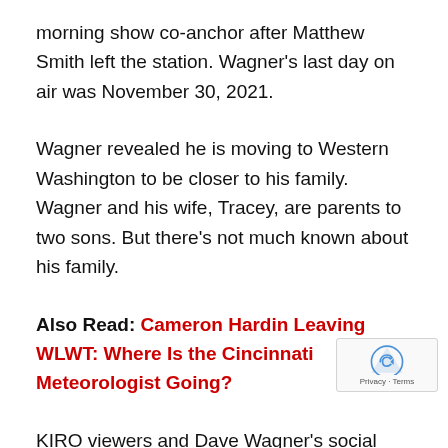morning show co-anchor after Matthew Smith left the station. Wagner’s last day on air was November 30, 2021.
Wagner revealed he is moving to Western Washington to be closer to his family. Wagner and his wife, Tracey, are parents to two sons. But there’s not much known about his family.
Also Read: Cameron Hardin Leaving WLWT: Where Is the Cincinnati Meteorologist Going?
KIRO viewers and Dave Wagner’s social media followers wish him well. They hope to see him return...